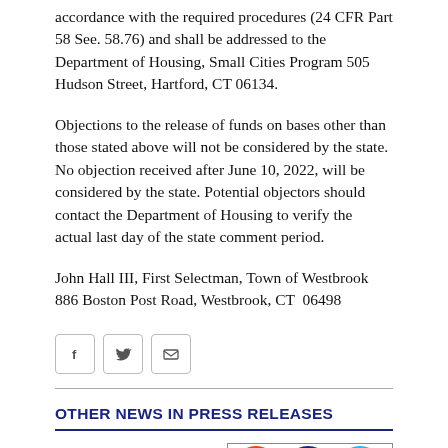accordance with the required procedures (24 CFR Part 58 See. 58.76) and shall be addressed to the Department of Housing, Small Cities Program 505 Hudson Street, Hartford, CT 06134.
Objections to the release of funds on bases other than those stated above will not be considered by the state. No objection received after June 10, 2022, will be considered by the state. Potential objectors should contact the Department of Housing to verify the actual last day of the state comment period.
John Hall III, First Selectman, Town of Westbrook
886 Boston Post Road, Westbrook, CT  06498
[Figure (other): Social media sharing buttons: Facebook, Twitter, and Email icons in bordered square boxes]
OTHER NEWS IN PRESS RELEASES
ENERGY EFFICIENCY
[Figure (illustration): Colorful circular icons/logos: orange, dark blue, light blue, orange, blue circles representing energy efficiency or related services]